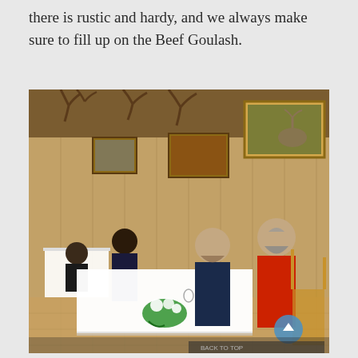there is rustic and hardy, and we always make sure to fill up on the Beef Goulash.
[Figure (photo): Interior of a rustic restaurant with wooden walls decorated with antlers and animal-themed paintings. Two men sit at a white-tablecloth table with candles and flowers; a third person stands in the background. One man wears a red jacket, the other dark clothing.]